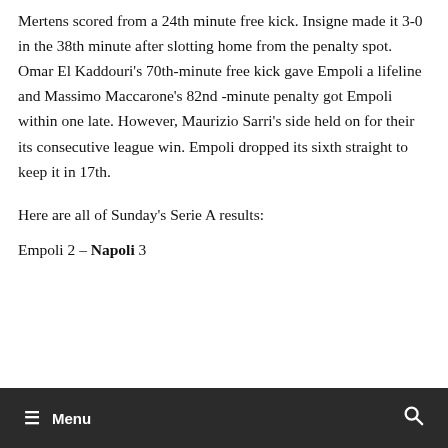Mertens scored from a 24th minute free kick. Insigne made it 3-0 in the 38th minute after slotting home from the penalty spot. Omar El Kaddouri's 70th-minute free kick gave Empoli a lifeline and Massimo Maccarone's 82nd -minute penalty got Empoli within one late. However, Maurizio Sarri's side held on for their its consecutive league win. Empoli dropped its sixth straight to keep it in 17th.
Here are all of Sunday's Serie A results:
Empoli 2 – Napoli 3
≡ Menu 🔍